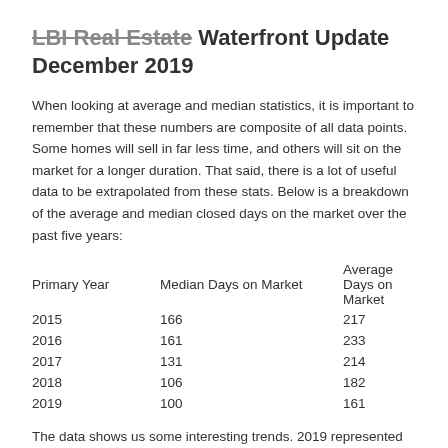LBI Real Estate Waterfront Update December 2019
When looking at average and median statistics, it is important to remember that these numbers are composite of all data points. Some homes will sell in far less time, and others will sit on the market for a longer duration. That said, there is a lot of useful data to be extrapolated from these stats. Below is a breakdown of the average and median closed days on the market over the past five years:
| Primary Year | Median Days on Market | Average Days on Market |
| --- | --- | --- |
| 2015 | 166 | 217 |
| 2016 | 161 | 233 |
| 2017 | 131 | 214 |
| 2018 | 106 | 182 |
| 2019 | 100 | 161 |
The data shows us some interesting trends. 2019 represented the shortest listing time over the past five years. The length of